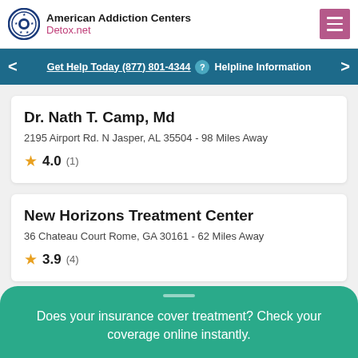American Addiction Centers Detox.net
Get Help Today (877) 801-4344 ? Helpline Information
Dr. Nath T. Camp, Md
2195 Airport Rd. N Jasper, AL 35504 - 98 Miles Away
★ 4.0 (1)
New Horizons Treatment Center
36 Chateau Court Rome, GA 30161 - 62 Miles Away
★ 3.9 (4)
Does your insurance cover treatment? Check your coverage online instantly.